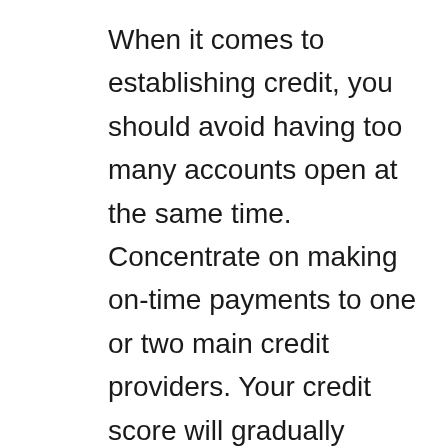When it comes to establishing credit, you should avoid having too many accounts open at the same time. Concentrate on making on-time payments to one or two main credit providers. Your credit score will gradually increase as you make on-time payments and payments that clear accounts. Those first one or two accounts will add up to a lot in terms of your credit score; the longer an account is active and in good standing, the better it appears on your credit report. Start by going to annualcreditreport.com, which is the only free site that connects you to the three major credit reporting agencies (Transunion, Equifax, and